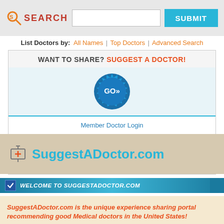[Figure (screenshot): Search bar with orange SEARCH label, text input field, and blue SUBMIT button on gray background]
List Doctors by: All Names | Top Doctors | Advanced Search
WANT TO SHARE? SUGGEST A DOCTOR!
[Figure (other): Blue GO>> badge/seal button]
Member Doctor Login
[Figure (screenshot): Select State dropdown with yellow background]
[Figure (screenshot): Select Branch dropdown with yellow background and Find MD button]
SuggestADoctor.com
WELCOME TO SUGGESTADOCTOR.COM
SuggestADoctor.com is the unique experience sharing portal recommending good Medical doctors in the United States!